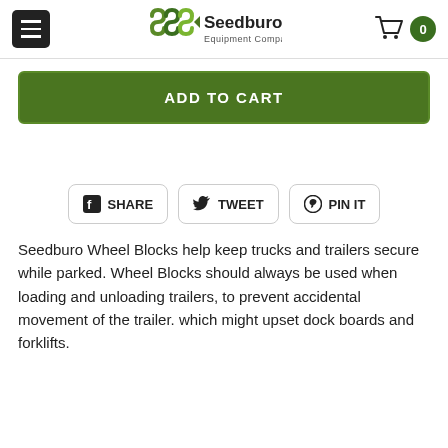[Figure (logo): Seedburo Equipment Company logo with menu button and shopping cart icon showing 0 items]
ADD TO CART
[Figure (infographic): Social sharing buttons: Share (Facebook), Tweet (Twitter), Pin It (Pinterest)]
Seedburo Wheel Blocks help keep trucks and trailers secure while parked. Wheel Blocks should always be used when loading and unloading trailers, to prevent accidental movement of the trailer. which might upset dock boards and forklifts.